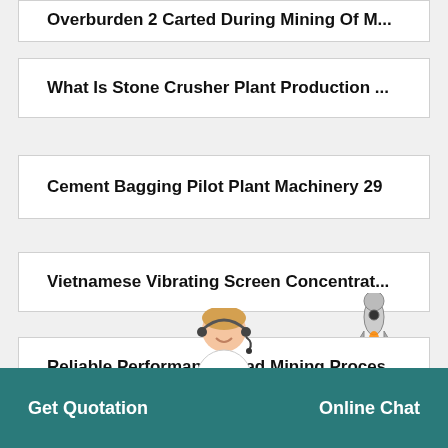Overburden 2 Carted During Mining Of M...
What Is Stone Crusher Plant Production ...
Cement Bagging Pilot Plant Machinery 29
Vietnamese Vibrating Screen Concentrat...
Reliable Performance Lead Mining Proce...s
Get Quotation    Online Chat